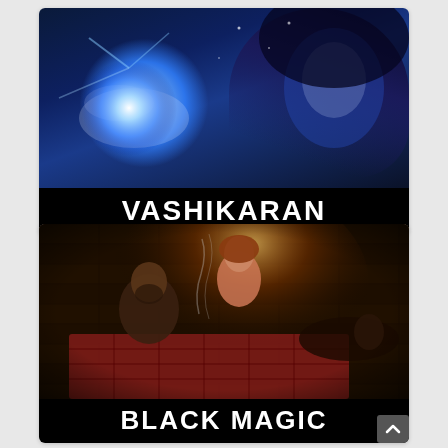[Figure (illustration): Vashikaran card: mystical dark blue background with a hooded woman and glowing magical energy in her hand. Bold white text 'VASHIKARAN' on black bar at bottom.]
[Figure (photo): Black Magic card: dark-toned photo of people seated in a ritual scene with smoke and candlelight. Bold white text 'BLACK MAGIC' on black bar at bottom (partially visible).]